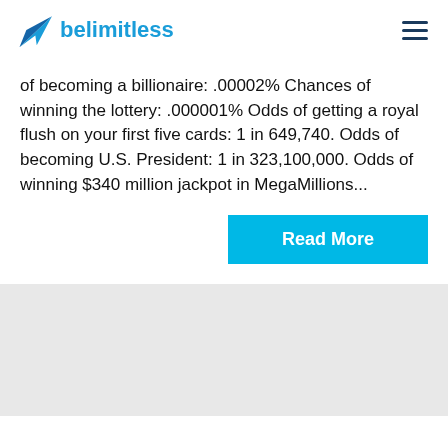belimitless
of becoming a billionaire: .00002% Chances of winning the lottery: .000001% Odds of getting a royal flush on your first five cards: 1 in 649,740. Odds of becoming U.S. President: 1 in 323,100,000. Odds of winning $340 million jackpot in MegaMillions...
Read More